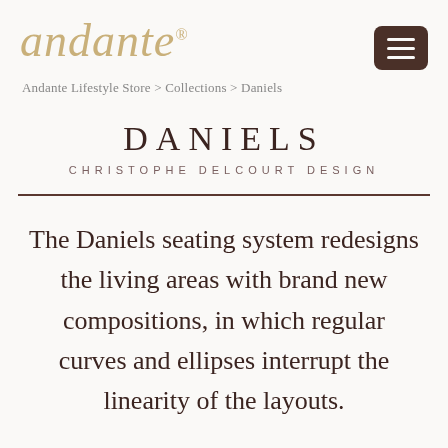[Figure (logo): Andante brand logo in italic serif font, gold/tan color, with registered trademark symbol]
Andante Lifestyle Store > Collections > Daniels
DANIELS
CHRISTOPHE DELCOURT DESIGN
The Daniels seating system redesigns the living areas with brand new compositions, in which regular curves and ellipses interrupt the linearity of the layouts.